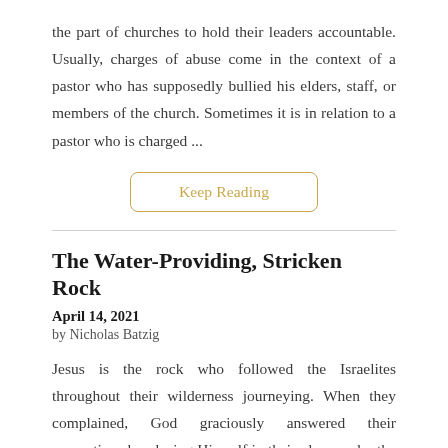the part of churches to hold their leaders accountable. Usually, charges of abuse come in the context of a pastor who has supposedly bullied his elders, staff, or members of the church. Sometimes it is in relation to a pastor who is charged ...
Keep Reading
The Water-Providing, Stricken Rock
April 14, 2021
by Nicholas Batzig
Jesus is the rock who followed the Israelites throughout their wilderness journeying. When they complained, God graciously answered their accusations by placing Himself in their place under the rod of His own justice. In this type, we discover that Jesus steps in the place of His people on the cross to be struck with the